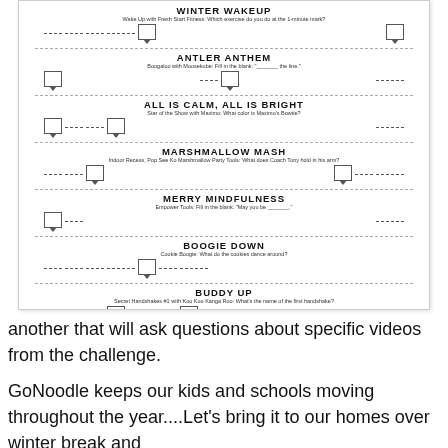[Figure (illustration): Worksheet image showing sections: WINTER WAKEUP, ANTLER ANTHEM, ALL IS CALM ALL IS BRIGHT, MARSHMALLOW MASH, MERRY MINDFULNESS, BOOGIE DOWN, BUDDY UP, KITTY IT'S COLD OUTSIDE — each with a title, subtitle clue, boxes with pointer arrows, and dashed answer lines.]
another that will ask questions about specific videos from the challenge.
GoNoodle keeps our kids and schools moving throughout the year....Let's bring it to our homes over winter break and